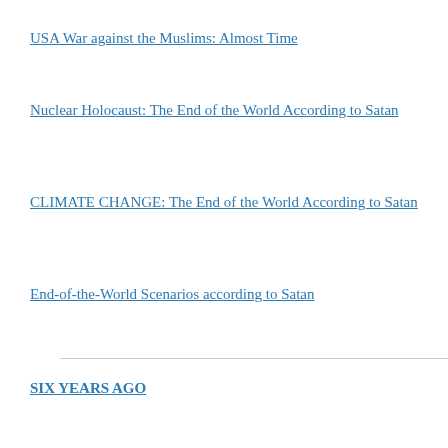USA War against the Muslims: Almost Time
Nuclear Holocaust: The End of the World According to Satan
CLIMATE CHANGE: The End of the World According to Satan
End-of-the-World Scenarios according to Satan
SIX YEARS AGO